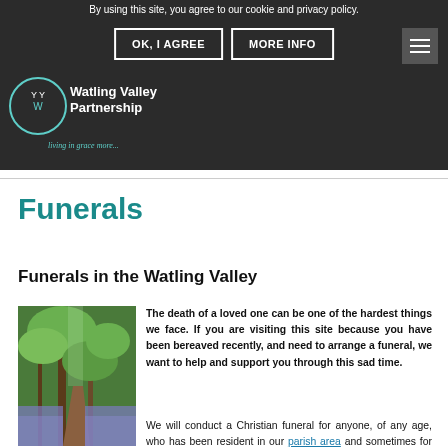By using this site, you agree to our cookie and privacy policy.
OK, I AGREE
MORE INFO
[Figure (logo): Watling Valley Partnership logo with heart and people icon, tagline 'living in grace more...']
Funerals
Funerals in the Watling Valley
[Figure (photo): A woodland path with bluebells and trees with green foliage]
The death of a loved one can be one of the hardest things we face. If you are visiting this site because you have been bereaved recently, and need to arrange a funeral, we want to help and support you through this sad time.
We will conduct a Christian funeral for anyone, of any age, who has been resident in our parish area and sometimes for people who have not